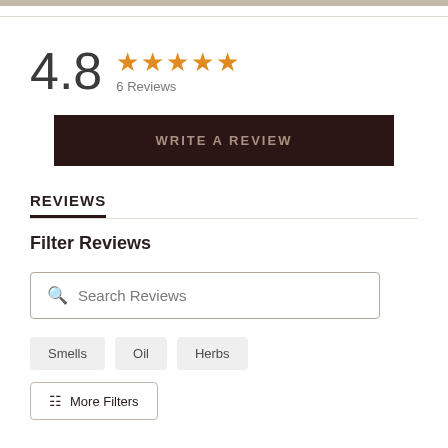4.8 ★★★★★ 6 Reviews
WRITE A REVIEW
REVIEWS
Filter Reviews
Search Reviews
Smells
Oil
Herbs
More Filters